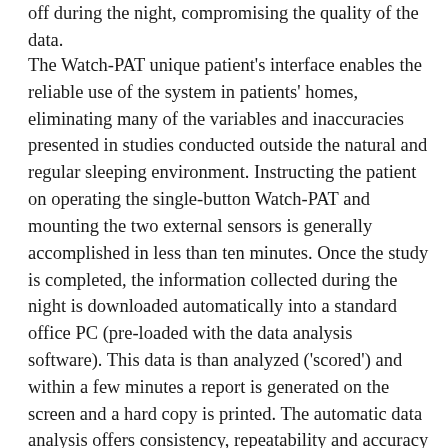off during the night, compromising the quality of the data.
The Watch-PAT unique patient's interface enables the reliable use of the system in patients' homes, eliminating many of the variables and inaccuracies presented in studies conducted outside the natural and regular sleeping environment. Instructing the patient on operating the single-button Watch-PAT and mounting the two external sensors is generally accomplished in less than ten minutes. Once the study is completed, the information collected during the night is downloaded automatically into a standard office PC (pre-loaded with the data analysis software). This data is than analyzed ('scored') and within a few minutes a report is generated on the screen and a hard copy is printed. The automatic data analysis offers consistency, repeatability and accuracy unmatched by the variability of manual scoring. While in most instances only the final report is required to assess severity of sleep apnea or to evaluate the efficacy of a therapy, the entire raw data collected during the study is still